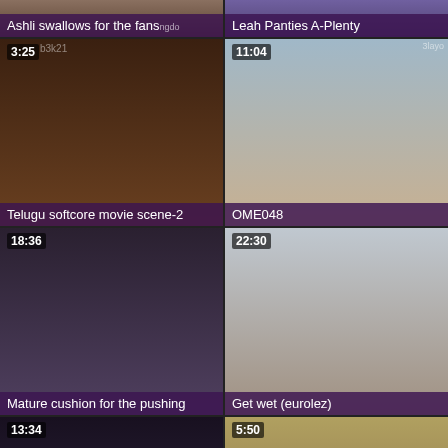[Figure (screenshot): Video thumbnail grid - top row partial: 'Ashli swallows for the fans' and 'Leah Panties A-Plenty']
Ashli swallows for the fans
Leah Panties A-Plenty
[Figure (screenshot): Video thumbnail: Telugu softcore movie scene-2, duration 3:25]
Telugu softcore movie scene-2
[Figure (screenshot): Video thumbnail: OME048, duration 11:04]
OME048
[Figure (screenshot): Video thumbnail: Mature cushion for the pushing, duration 18:36]
Mature cushion for the pushing
[Figure (screenshot): Video thumbnail: Get wet (eurolez), duration 22:30]
Get wet (eurolez)
[Figure (screenshot): Video thumbnail: Loading screen, duration 13:34]
[Figure (screenshot): Video thumbnail: woman in hat outdoors, duration 5:50]